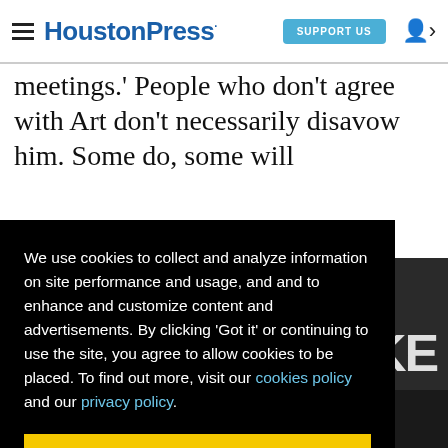HoustonPress | SUPPORT US
meetings.' People who don't agree with Art don't necessarily disavow him. Some do, some will
We use cookies to collect and analyze information on site performance and usage, and and to enhance and customize content and advertisements. By clicking 'Got it' or continuing to use the site, you agree to allow cookies to be placed. To find out more, visit our cookies policy and our privacy policy.
Got it!